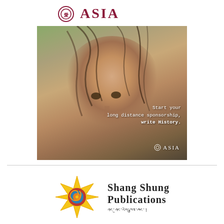[Figure (logo): ASIA organization logo with decorative circular emblem in dark red/maroon and text ASIA in large letters]
[Figure (photo): Close-up photo of a young Asian child with messy hair and a serious expression, overlaid with white text: 'Start your long distance sponsorship, write History.' with ASIA brand logo in bottom right corner]
[Figure (logo): Shang Shung Publications logo: yellow star-burst shape with red/blue/orange spiral circle inside, next to text 'Shang Shung Publications' in serif font with Tibetan script below]